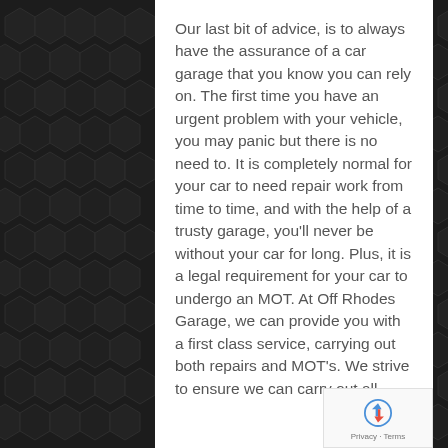Our last bit of advice, is to always have the assurance of a car garage that you know you can rely on. The first time you have an urgent problem with your vehicle, you may panic but there is no need to. It is completely normal for your car to need repair work from time to time, and with the help of a trusty garage, you'll never be without your car for long. Plus, it is a legal requirement for your car to undergo an MOT. At Off Rhodes Garage, we can provide you with a first class service, carrying out both repairs and MOT's. We strive to ensure we can carry out all